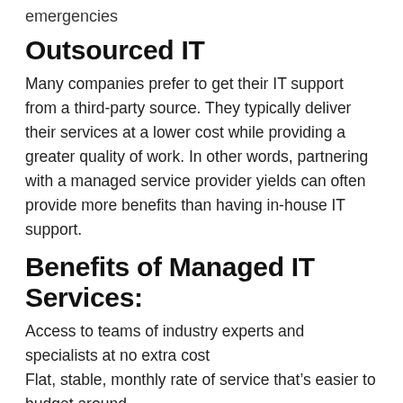emergencies
Outsourced IT
Many companies prefer to get their IT support from a third-party source. They typically deliver their services at a lower cost while providing a greater quality of work. In other words, partnering with a managed service provider yields can often provide more benefits than having in-house IT support.
Benefits of Managed IT Services:
Access to teams of industry experts and specialists at no extra cost
Flat, stable, monthly rate of service that's easier to budget around
24/7 availability with remote support at your fingertips within minutes and access to a local on-site visit from a technician when needed
Legally binding SLA to guarantee uptime and quality of service